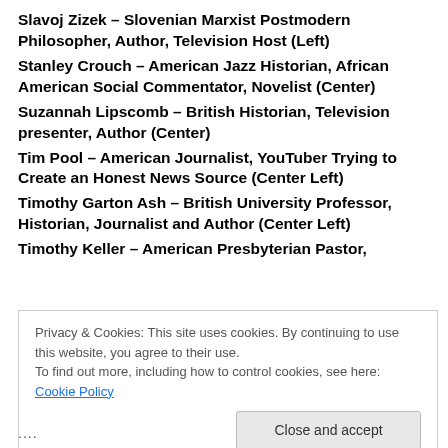Slavoj Zizek – Slovenian Marxist Postmodern Philosopher, Author, Television Host (Left)
Stanley Crouch – American Jazz Historian, African American Social Commentator, Novelist (Center)
Suzannah Lipscomb – British Historian, Television presenter, Author (Center)
Tim Pool – American Journalist, YouTuber Trying to Create an Honest News Source (Center Left)
Timothy Garton Ash – British University Professor, Historian, Journalist and Author (Center Left)
Timothy Keller – American Presbyterian Pastor,
Privacy & Cookies: This site uses cookies. By continuing to use this website, you agree to their use.
To find out more, including how to control cookies, see here: Cookie Policy
Close and accept
····